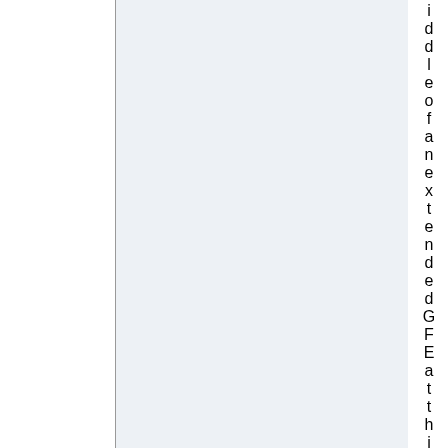iddleof an extended GFE at this mome
[Figure (other): Page fragment showing two columns: a white left panel and a light blue-gray right panel separated by a vertical line, with vertical rotated text on the far right reading letters of 'middle of an extended GFE at this mome']